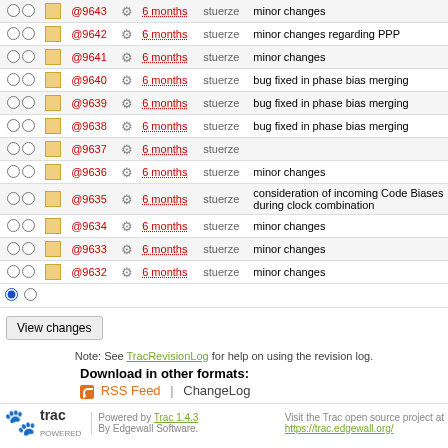|  |  |  | Rev |  | Age | Author | Log Message |
| --- | --- | --- | --- | --- | --- | --- | --- |
| ○ | ○ | □ | @9643 | ⚙ | 6 months | stuerze | minor changes |
| ○ | ○ | □ | @9642 | ⚙ | 6 months | stuerze | minor changes regarding PPP |
| ○ | ○ | □ | @9641 | ⚙ | 6 months | stuerze | minor changes |
| ○ | ○ | □ | @9640 | ⚙ | 6 months | stuerze | bug fixed in phase bias merging |
| ○ | ○ | □ | @9639 | ⚙ | 6 months | stuerze | bug fixed in phase bias merging |
| ○ | ○ | □ | @9638 | ⚙ | 6 months | stuerze | bug fixed in phase bias merging |
| ○ | ○ | □ | @9637 | ⚙ | 6 months | stuerze |  |
| ○ | ○ | □ | @9636 | ⚙ | 6 months | stuerze | minor changes |
| ○ | ○ | □ | @9635 | ⚙ | 6 months | stuerze | consideration of incoming Code Biases during clock combination |
| ○ | ○ | □ | @9634 | ⚙ | 6 months | stuerze | minor changes |
| ○ | ○ | □ | @9633 | ⚙ | 6 months | stuerze | minor changes |
| ○ | ○ | □ | @9632 | ⚙ | 6 months | stuerze | minor changes |
Note: See TracRevisionLog for help on using the revision log.
Download in other formats: RSS Feed | ChangeLog
Powered by Trac 1.4.3 By Edgewall Software. Visit the Trac open source project at https://trac.edgewall.org/